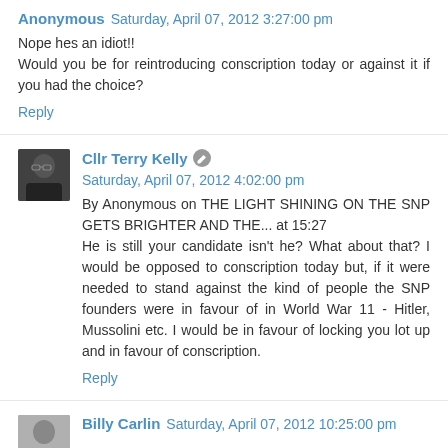Anonymous  Saturday, April 07, 2012 3:27:00 pm
Nope hes an idiot!!
Would you be for reintroducing conscription today or against it if you had the choice?
Reply
Cllr Terry Kelly  Saturday, April 07, 2012 4:02:00 pm
By Anonymous on THE LIGHT SHINING ON THE SNP GETS BRIGHTER AND THE... at 15:27
He is still your candidate isn't he? What about that? I would be opposed to conscription today but, if it were needed to stand against the kind of people the SNP founders were in favour of in World War 11 - Hitler, Mussolini etc. I would be in favour of locking you lot up and in favour of conscription.
Reply
Billy Carlin  Saturday, April 07, 2012 10:25:00 pm